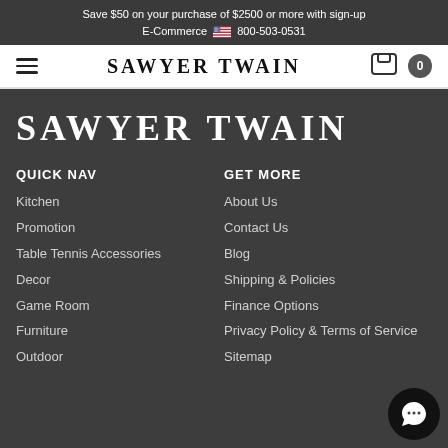Save $50 on your purchase of $2500 or more with sign-up
E-Commerce 🇺🇸 800-503-0531
SAWYER TWAIN
[Figure (logo): SAWYER TWAIN logo in large serif bold uppercase letters on dark background]
QUICK NAV
Kitchen
Promotion
Table Tennis Accessories
Decor
Game Room
Furniture
Outdoor
GET MORE
About Us
Contact Us
Blog
Shipping & Policies
Finance Options
Privacy Policy & Terms of Service
Sitemap